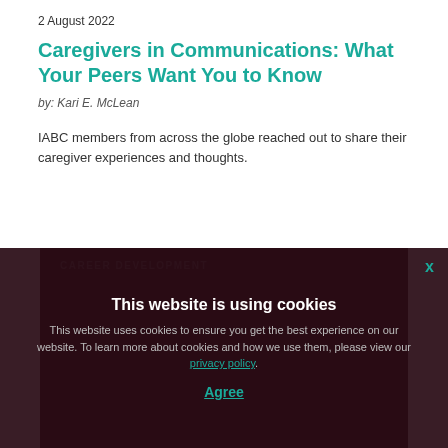2 August 2022
Caregivers in Communications: What Your Peers Want You to Know
by: Kari E. McLean
IABC members from across the globe reached out to share their caregiver experiences and thoughts.
This website is using cookies
This website uses cookies to ensure you get the best experience on our website. To learn more about cookies and how we use them, please view our privacy policy.
Agree